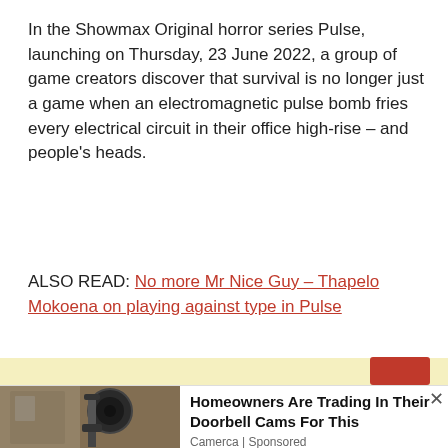In the Showmax Original horror series Pulse, launching on Thursday, 23 June 2022, a group of game creators discover that survival is no longer just a game when an electromagnetic pulse bomb fries every electrical circuit in their office high-rise – and people's heads.
ALSO READ: No more Mr Nice Guy – Thapelo Mokoena on playing against type in Pulse
[Figure (other): Yellow/cream colored advertisement banner area]
[Figure (photo): Advertisement showing a home security camera mounted on a wall, with text: Homeowners Are Trading In Their Doorbell Cams For This. Camerca | Sponsored]